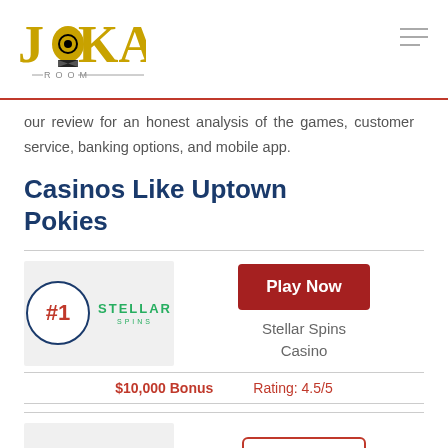[Figure (logo): JokaRoom casino logo in gold and black]
our review for an honest analysis of the games, customer service, banking options, and mobile app.
Casinos Like Uptown Pokies
[Figure (infographic): Casino card #1: Stellar Spins Casino with Play Now button]
Stellar Spins Casino
$10,000 Bonus    Rating: 4.5/5
[Figure (infographic): Casino card #2: Wolf casino with Play Now button (partial)]